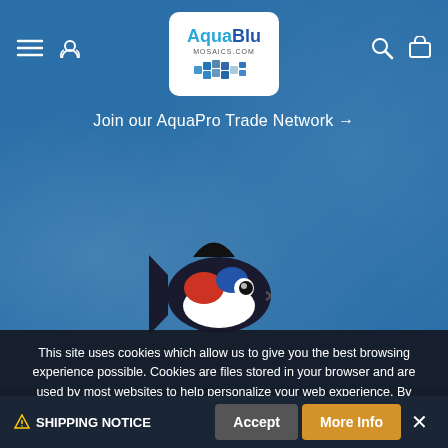[Figure (logo): AquaBlu Mosaics logo with fish mosaic image and text 'AquaBlu MOSAICS.COM']
Join our AquaPro Trade Network →
[Figure (illustration): Cartoon fish illustration - koi fish with mosaic pattern in red, white and blue]
© 2022, AquaBlu Mosaics • Terms & Privacy
This site uses cookies which allow us to give you the best browsing experience possible. Cookies are files stored in your browser and are used by most websites to help personalize your web experience. By continuing to use our website without changing settings, you are agreeing to our use of cookies. To find out more, please visit our Privacy Policy.
⚠ SHIPPING NOTICE    Accept    More Info    ×